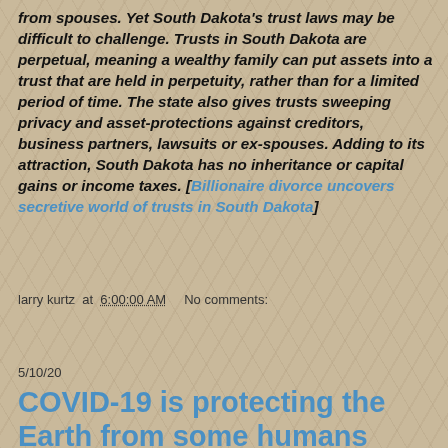from spouses. Yet South Dakota's trust laws may be difficult to challenge. Trusts in South Dakota are perpetual, meaning a wealthy family can put assets into a trust that are held in perpetuity, rather than for a limited period of time. The state also gives trusts sweeping privacy and asset-protections against creditors, business partners, lawsuits or ex-spouses. Adding to its attraction, South Dakota has no inheritance or capital gains or income taxes. [Billionaire divorce uncovers secretive world of trusts in South Dakota]
larry kurtz at 6:00:00 AM    No comments:
Share
5/10/20
COVID-19 is protecting the Earth from some humans